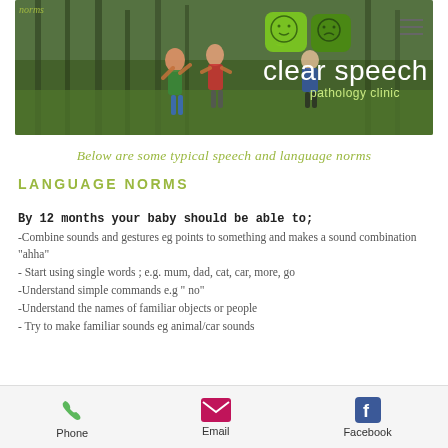[Figure (screenshot): Clear Speech Pathology Clinic website header with children playing outdoors in green forest background, green speech bubble logos, hamburger menu icon, and clinic name 'clear speech pathology clinic' in white text]
Below are some typical speech and language norms
LANGUAGE NORMS
By 12 months your baby should be able to;
-Combine sounds and gestures eg points to something and makes a sound combination "ahha"
- Start using single words ; e.g. mum, dad, cat, car, more, go
-Understand simple commands e.g " no"
-Understand the names of familiar objects or people
- Try to make familiar sounds eg animal/car sounds
Phone   Email   Facebook